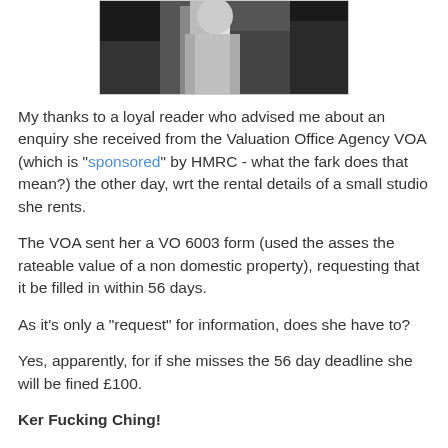[Figure (photo): Black and white photo of a person, partially visible, top portion cropped]
My thanks to a loyal reader who advised me about an enquiry she received from the Valuation Office Agency VOA (which is "sponsored" by HMRC - what the fark does that mean?) the other day, wrt the rental details of a small studio she rents.
The VOA sent her a VO 6003 form (used the asses the rateable value of a non domestic property), requesting that it be filled in within 56 days.
As it's only a "request" for information, does she have to?
Yes, apparently, for if she misses the 56 day deadline she will be fined £100.
Ker Fucking Ching!